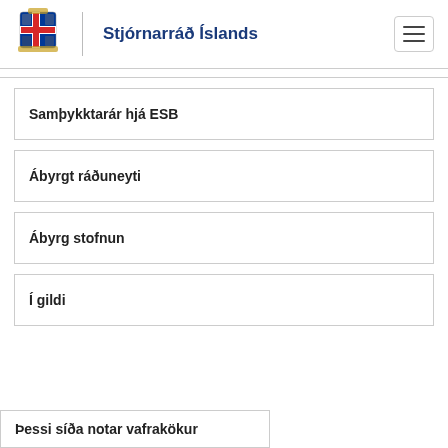Stjórnarráð Íslands
Samþykktarár hjá ESB
Ábyrgt ráðuneyti
Ábyrg stofnun
Í gildi
Þessi síða notar vafrakökur